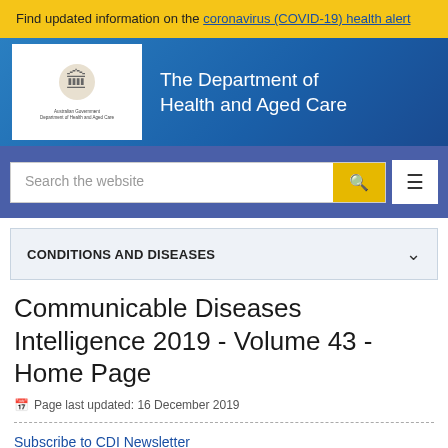Find updated information on the coronavirus (COVID-19) health alert
[Figure (logo): Australian Government Department of Health and Aged Care logo with crest, shown in white box. Text: The Department of Health and Aged Care]
Search the website
CONDITIONS AND DISEASES
Communicable Diseases Intelligence 2019 - Volume 43 - Home Page
Page last updated: 16 December 2019
Subscribe to CDI Newsletter